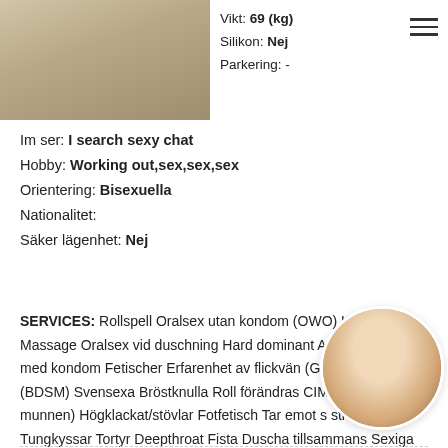[Figure (photo): Partial photo of a person in light/white clothing, cropped at top]
Vikt: 69 (kg)
Silikon: Nej
Parkering: -
Im ser: I search sexy chat
Hobby: Working out,sex,sex,sex
Orientering: Bisexuella
Nationalitet:
Säker lägenhet: Nej
SERVICES: Rollspell Oralsex utan kondom (OWO) Kropp Massage Oralsex vid duschning Hard dominant Analsex Oralsex med kondom Fetischer Erfarenhet av flickvän (GFE) Bondage (BDSM) Svensexa Bröstknulla Roll förändras CIM (komma i munnen) Högklackat/stövlar Fotfetisch Tar emot s stretching Tungkyssar Tortyr Deepthroat Fista Duscha tillsammans Sexiga underk
[Figure (photo): Circular thumbnail of a person with blonde hair and black outfit]